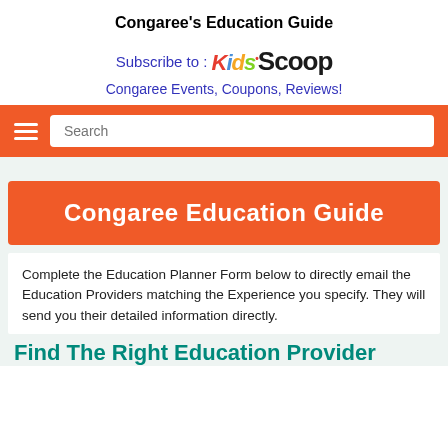Congaree's Education Guide
[Figure (logo): Subscribe to KidsScoop logo with colorful letters]
Congaree Events, Coupons, Reviews!
[Figure (screenshot): Orange navigation bar with hamburger menu icon and search box]
Congaree Education Guide
Complete the Education Planner Form below to directly email the Education Providers matching the Experience you specify. They will send you their detailed information directly.
Find The Right Education Provider